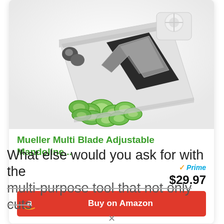[Figure (photo): Product photo of Mueller Multi Blade Adjustable Mandoline slicer with sliced cucumbers]
Mueller Multi Blade Adjustable Mandoline...
Prime $29.97
Buy on Amazon
What else would you ask for with the multi-purpose tool that not only cuts